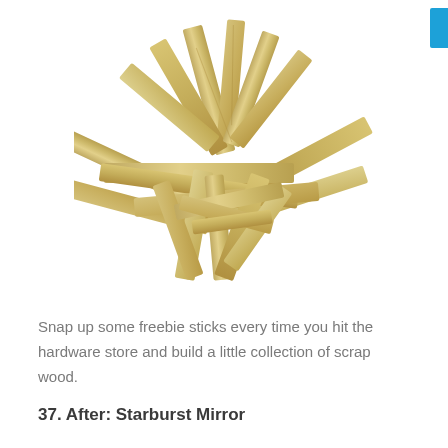[Figure (photo): A pile of light-colored wooden sticks/craft sticks (free paint stirrers or wooden molding strips) arranged in a loose starburst/pile pattern on a white background.]
Snap up some freebie sticks every time you hit the hardware store and build a little collection of scrap wood.
37. After: Starburst Mirror